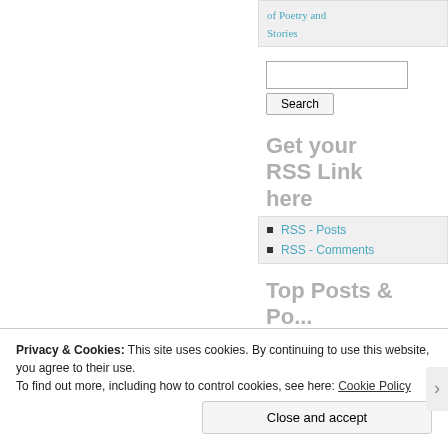of Poetry and Stories
Search
Get your RSS Link here
RSS - Posts
RSS - Comments
Top Posts & P...
Privacy & Cookies: This site uses cookies. By continuing to use this website, you agree to their use.
To find out more, including how to control cookies, see here: Cookie Policy
Close and accept